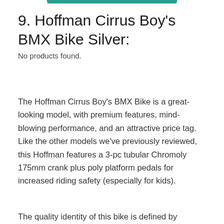9. Hoffman Cirrus Boy's BMX Bike Silver:
No products found.
The Hoffman Cirrus Boy's BMX Bike is a great-looking model, with premium features, mind-blowing performance, and an attractive price tag. Like the other models we've previously reviewed, this Hoffman features a 3-pc tubular Chromoly 175mm crank plus poly platform pedals for increased riding safety (especially for kids).
The quality identity of this bike is defined by